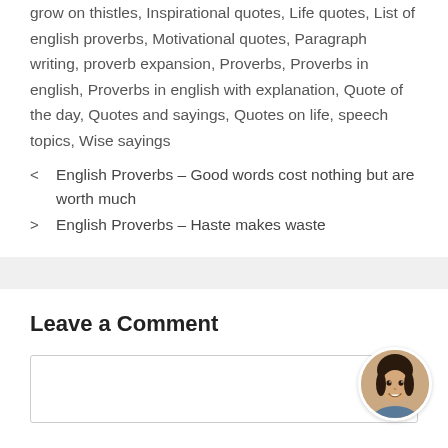grow on thistles, Inspirational quotes, Life quotes, List of english proverbs, Motivational quotes, Paragraph writing, proverb expansion, Proverbs, Proverbs in english, Proverbs in english with explanation, Quote of the day, Quotes and sayings, Quotes on life, speech topics, Wise sayings
English Proverbs – Good words cost nothing but are worth much
English Proverbs – Haste makes waste
Leave a Comment